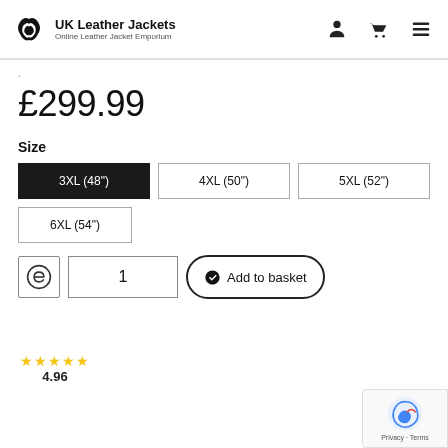UK Leather Jackets - Online Leather Jacket Emporium
.
£299.99
Size
3XL (48")
4XL (50")
5XL (52")
6XL (54")
1
Add to basket
★★★★★
4.96
Privacy · Terms